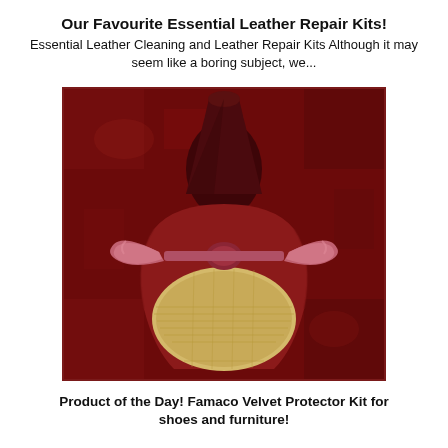Our Favourite Essential Leather Repair Kits!
Essential Leather Cleaning and Leather Repair Kits Although it may seem like a boring subject, we...
[Figure (photo): Close-up photo of the bottom/sole of a dark red velvet shoe with a pink velvet bow, shot against a dark crimson velvet background.]
Product of the Day! Famaco Velvet Protector Kit for shoes and furniture!